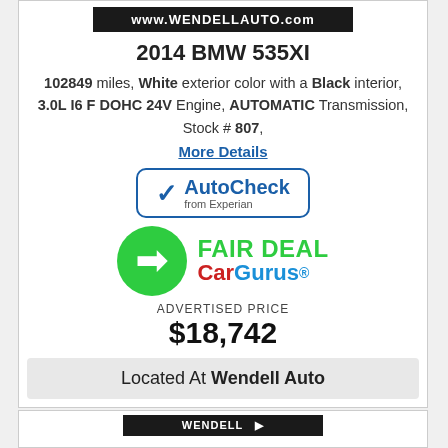[Figure (logo): Wendell Auto dealer banner logo: www.WENDELLAUTO.com on black background]
2014 BMW 535XI
102849 miles, White exterior color with a Black interior, 3.0L I6 F DOHC 24V Engine, AUTOMATIC Transmission, Stock # 807,
More Details
[Figure (logo): AutoCheck from Experian logo in blue rounded rectangle border]
[Figure (logo): CarGurus Fair Deal badge with green circle arrow and CarGurus wordmark]
ADVERTISED PRICE
$18,742
Located At Wendell Auto
[Figure (logo): Wendell Auto second card banner partially visible at bottom]